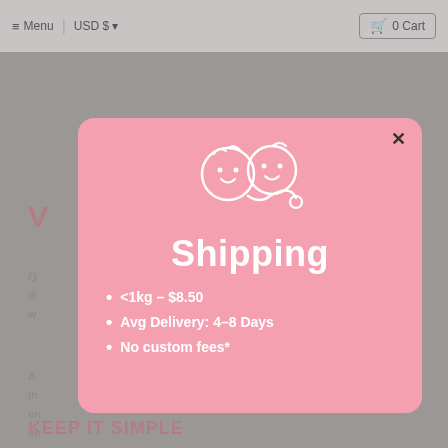≡ Menu   USD $   0 Cart
V...
O... di... w...
A... th... on... up... W... a to... w...
[Figure (infographic): Pink shipping modal popup with baby logo illustration at top, bold white title 'Shipping', and three bullet points: <1kg - $8.50, Avg Delivery: 4-8 Days, No custom fees*. Modal has a close X button in top right corner.]
KEEP IT SIMPLE